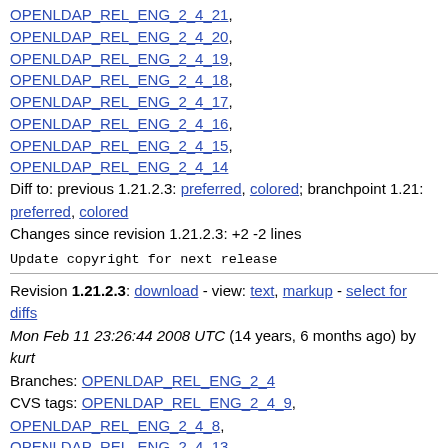OPENLDAP_REL_ENG_2_4_21,
OPENLDAP_REL_ENG_2_4_20,
OPENLDAP_REL_ENG_2_4_19,
OPENLDAP_REL_ENG_2_4_18,
OPENLDAP_REL_ENG_2_4_17,
OPENLDAP_REL_ENG_2_4_16,
OPENLDAP_REL_ENG_2_4_15,
OPENLDAP_REL_ENG_2_4_14
Diff to: previous 1.21.2.3: preferred, colored; branchpoint 1.21: preferred, colored
Changes since revision 1.21.2.3: +2 -2 lines
Update copyright for next release
Revision 1.21.2.3: download - view: text, markup - select for diffs
Mon Feb 11 23:26:44 2008 UTC (14 years, 6 months ago) by kurt
Branches: OPENLDAP_REL_ENG_2_4
CVS tags: OPENLDAP_REL_ENG_2_4_9,
OPENLDAP_REL_ENG_2_4_8,
OPENLDAP_REL_ENG_2_4_13,
OPENLDAP_REL_ENG_2_4_12,
OPENLDAP_REL_ENG_2_4_11,
OPENLDAP_REL_ENG_2_4_10
Diff to: previous 1.21.2.2: preferred, colored; branchpoint 1.21: preferred, colored